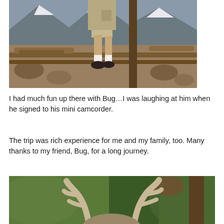[Figure (photo): Lower half of a person standing on a wooden boardwalk or fence in a mountain landscape. Person wears khaki shorts, white socks, and dark shoes. Rocky terrain and snow-capped mountains visible in background.]
I had much fun up there with Bug…I was laughing at him when he signed to his mini camcorder.
The trip was rich experience for me and my family, too. Many thanks to my friend, Bug, for a long journey.
[Figure (photo): Close-up of deer or elk antlers in velvet against a blurred green forest background.]